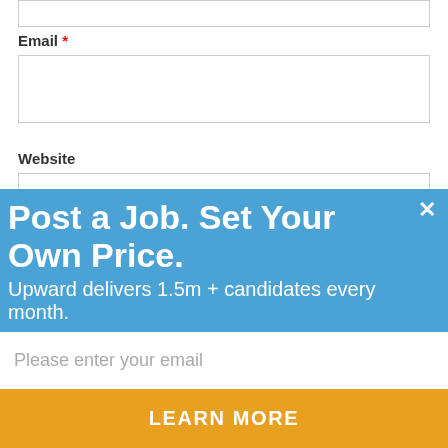Email *
Website
Post Comment
Notify me of follow-up comments by email.
[Figure (logo): OptinMonster logo on grey bar]
Post a Job. Set Your Own Price.
Upward delivers 1.5m + candidates every month.
Please enter your email
LEARN MORE